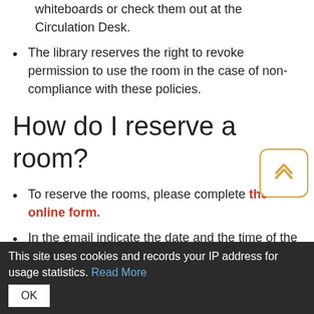whiteboards or check them out at the Circulation Desk.
The library reserves the right to revoke permission to use the room in the case of non-compliance with these policies.
How do I reserve a room?
To reserve the rooms, please complete the online form.
In the email indicate the date and the time of the meeting, and the times you would like the reservation to start and end.
Your reservation is complete when you receive
This site uses cookies and records your IP address for usage statistics. Read More OK